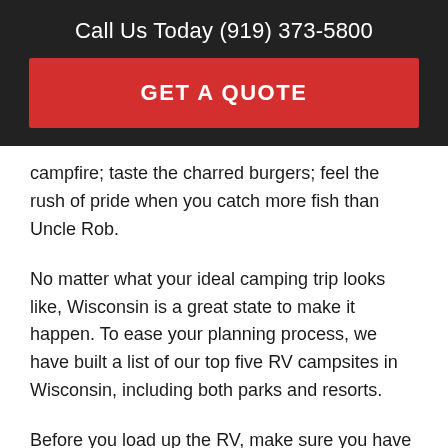Call Us Today (919) 373-5800
GET A QUOTE
campfire; taste the charred burgers; feel the rush of pride when you catch more fish than Uncle Rob.
No matter what your ideal camping trip looks like, Wisconsin is a great state to make it happen. To ease your planning process, we have built a list of our top five RV campsites in Wisconsin, including both parks and resorts.
Before you load up the RV, make sure you have the right auto insurance to protect the vehicle that makes it all